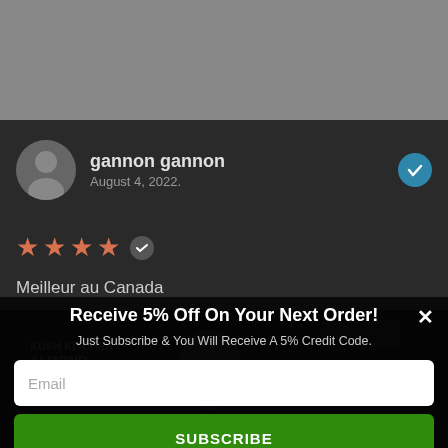[Figure (photo): Grey banner/image area at top of page]
[Figure (photo): Circular avatar photo of gannon gannon reviewer]
gannon gannon
August 4, 2022.
[Figure (other): Blue teal verified checkmark badge]
[Figure (other): Four orange/terracotta star rating with verified badge icon]
Meilleur au Canada
[Figure (photo): Black and white background photo of cannabis-related products]
Receive 5% Off On Your Next Order!
Just Subscribe & You Will Receive A 5% Credit Code.
Email
SUBSCRIBE